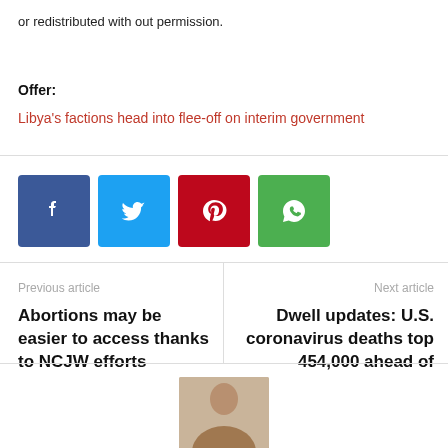or redistributed with out permission.
Offer:
Libya's factions head into flee-off on interim government
[Figure (other): Social sharing buttons: Facebook, Twitter, Pinterest, WhatsApp]
Previous article
Abortions may be easier to access thanks to NCJW efforts
Next article
Dwell updates: U.S. coronavirus deaths top 454,000 ahead of Tremendous Bowl; Senate paves way for relief measures
[Figure (photo): Avatar/profile photo of a person, partially visible at the bottom of the page]